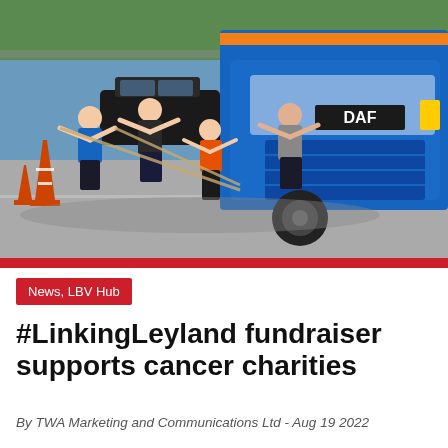[Figure (photo): Four people leaning forward straining to pull ropes attached to a large blue DAF truck on a road, with orange traffic cones visible in the background and green trees/fence behind. The participants appear to be in a charity truck pull event.]
News, LBV Hub
#LinkingLeyland fundraiser supports cancer charities
By TWA Marketing and Communications Ltd - Aug 19 2022